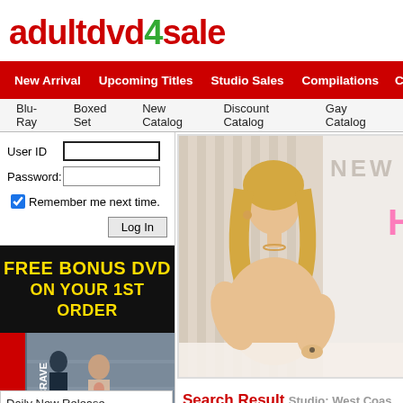adultdvd4sale
New Arrival  Upcoming Titles  Studio Sales  Compilations  Catalog Titles
Blu-Ray  Boxed Set  New Catalog  Discount Catalog  Gay Catalog
User ID
Password:
Remember me next time.
Log In
FREE BONUS DVD ON YOUR 1ST ORDER
[Figure (photo): DVD cover image with CRAVE label and two people]
[Figure (photo): Promotional banner image showing a woman with NEW text overlay]
Search Result Studio: West Coas
Daily New Release